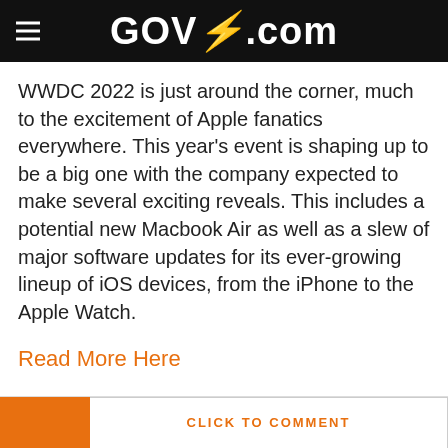GOVR.com
WWDC 2022 is just around the corner, much to the excitement of Apple fanatics everywhere. This year's event is shaping up to be a big one with the company expected to make several exciting reveals. This includes a potential new Macbook Air as well as a slew of major software updates for its ever-growing lineup of iOS devices, from the iPhone to the Apple Watch.
Read More Here
RELATED TOPICS
CLICK TO COMMENT